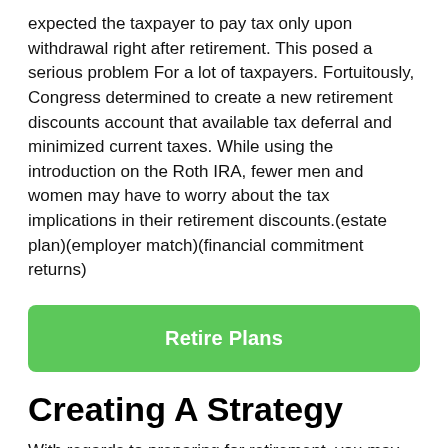expected the taxpayer to pay tax only upon withdrawal right after retirement. This posed a serious problem For a lot of taxpayers. Fortuitously, Congress determined to create a new retirement discounts account that available tax deferral and minimized current taxes. While using the introduction on the Roth IRA, fewer men and women may have to worry about the tax implications in their retirement discounts.(estate plan)(employer match)(financial commitment returns)
Retire Plans
Creating A Strategy
With regards to preparing for retirement, you may need to consider the money resources you need to Reside easily. Once you have a list of these sources, you may get the job done backwards from there to figure out exactly how much